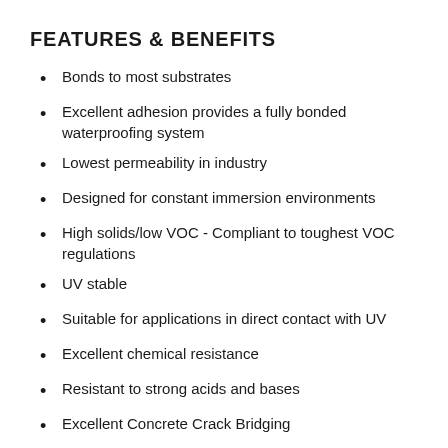FEATURES & BENEFITS
Bonds to most substrates
Excellent adhesion provides a fully bonded waterproofing system
Lowest permeability in industry
Designed for constant immersion environments
High solids/low VOC - Compliant to toughest VOC regulations
UV stable
Suitable for applications in direct contact with UV
Excellent chemical resistance
Resistant to strong acids and bases
Excellent Concrete Crack Bridging
Bridge new cracks up to ¼ inch
Approved to ANSI/NSF 61 Standard
Suitable for contact with potable water for tanks so